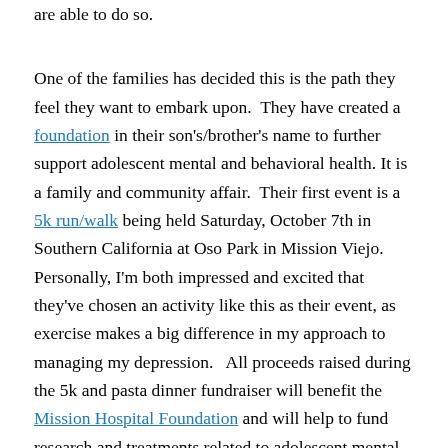are able to do so.
One of the families has decided this is the path they feel they want to embark upon. They have created a foundation in their son's/brother's name to further support adolescent mental and behavioral health. It is a family and community affair. Their first event is a 5k run/walk being held Saturday, October 7th in Southern California at Oso Park in Mission Viejo. Personally, I'm both impressed and excited that they've chosen an activity like this as their event, as exercise makes a big difference in my approach to managing my depression. All proceeds raised during the 5k and pasta dinner fundraiser will benefit the Mission Hospital Foundation and will help to fund research and treatments related to adolescent mental health. If you're local to Southern California, please consider registering and attending. Or if you're not local or would just prefer to support financially there are direct links for donations in the two links